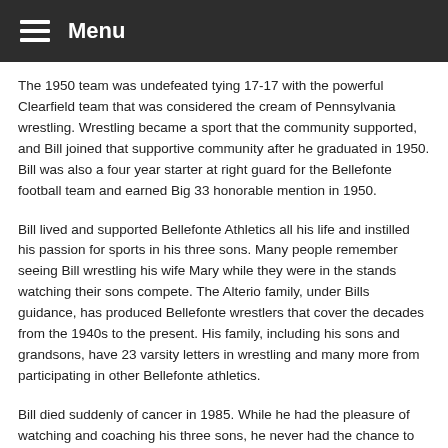Menu
The 1950 team was undefeated tying 17-17 with the powerful Clearfield team that was considered the cream of Pennsylvania wrestling. Wrestling became a sport that the community supported, and Bill joined that supportive community after he graduated in 1950. Bill was also a four year starter at right guard for the Bellefonte football team and earned Big 33 honorable mention in 1950.
Bill lived and supported Bellefonte Athletics all his life and instilled his passion for sports in his three sons. Many people remember seeing Bill wrestling his wife Mary while they were in the stands watching their sons compete. The Alterio family, under Bills guidance, has produced Bellefonte wrestlers that cover the decades from the 1940s to the present. His family, including his sons and grandsons, have 23 varsity letters in wrestling and many more from participating in other Bellefonte athletics.
Bill died suddenly of cancer in 1985. While he had the pleasure of watching and coaching his three sons, he never had the chance to see his grandsons compete. He would have been proud to see the tradition continue and to watch his grandsons reach the